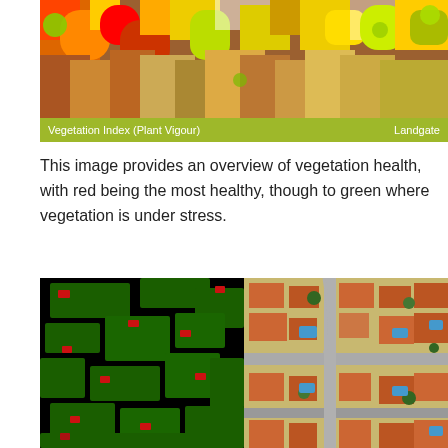[Figure (photo): Aerial/satellite imagery showing vegetation index (plant vigour) with red indicating most healthy vegetation and green showing stressed areas, heat-map style overlay on suburban area]
Vegetation Index (Plant Vigour)   Landgate
This image provides an overview of vegetation health, with red being the most healthy, though to green where vegetation is under stress.
[Figure (photo): Side-by-side comparison: left panel shows a vegetation classification map with green areas (vegetation) and red spots on black background; right panel shows aerial photograph of suburban residential area with houses, roads, and trees.]